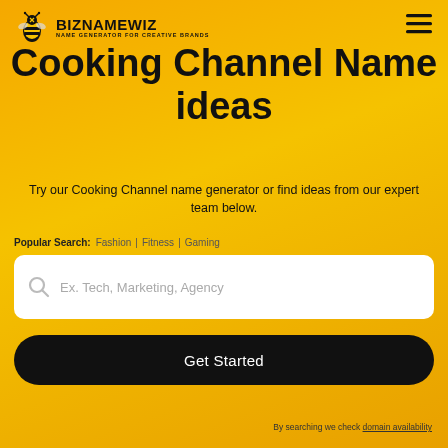BIZNAMEWIZ — NAME GENERATOR FOR CREATIVE BRANDS
Cooking Channel Name ideas
Try our Cooking Channel name generator or find ideas from our expert team below.
Popular Search: Fashion | Fitness | Gaming
Ex. Tech, Marketing, Agency
Get Started
By searching we check domain availability